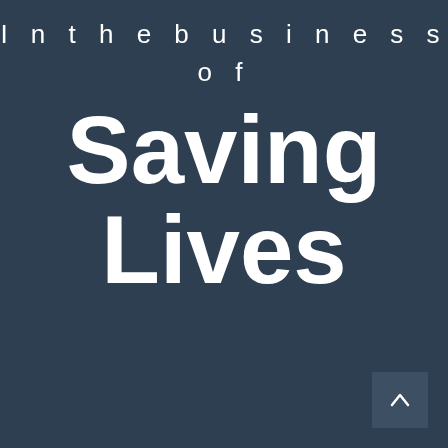In the business of Saving Lives
[Figure (other): A scroll-to-top button in the bottom right corner, showing an upward-pointing caret/arrow icon on a dark square background.]